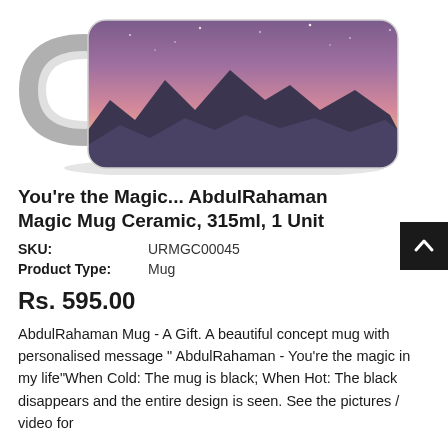[Figure (photo): A white ceramic mug with a handle on the left side and a printed mountain landscape at sunset/dusk with purple-pink sky and dark mountain silhouettes. The mug is shown on a white background with a shadow beneath.]
You're the Magic... AbdulRahaman Magic Mug Ceramic, 315ml, 1 Unit
SKU: URMGC00045
Product Type: Mug
Rs. 595.00
AbdulRahaman Mug - A Gift. A beautiful concept mug with personalised message " AbdulRahaman - You're the magic in my life"When Cold: The mug is black; When Hot: The black disappears and the entire design is seen. See the pictures / video for